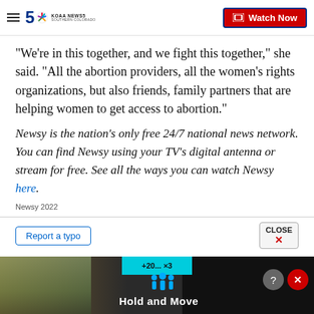KOAA News5 Southern Colorado — Watch Now
"We're in this together, and we fight this together," she said. "All the abortion providers, all the women's rights organizations, but also friends, family partners that are helping women to get access to abortion."
Newsy is the nation's only free 24/7 national news network. You can find Newsy using your TV's digital antenna or stream for free. See all the ways you can watch Newsy here.
Newsy 2022
Report a typo
[Figure (screenshot): Advertisement overlay showing 'Hold and Move' app/game with cyan bar, dark background, and person silhouettes icon]